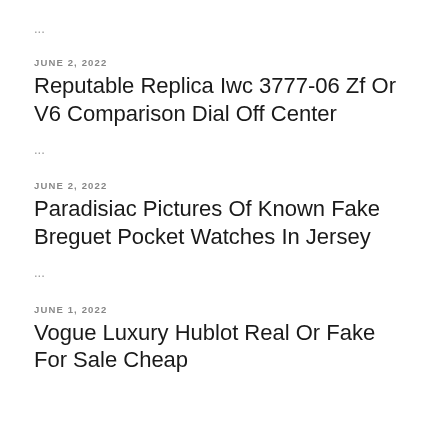...
JUNE 2, 2022
Reputable Replica Iwc 3777-06 Zf Or V6 Comparison Dial Off Center
...
JUNE 2, 2022
Paradisiac Pictures Of Known Fake Breguet Pocket Watches In Jersey
...
JUNE 1, 2022
Vogue Luxury Hublot Real Or Fake For Sale Cheap